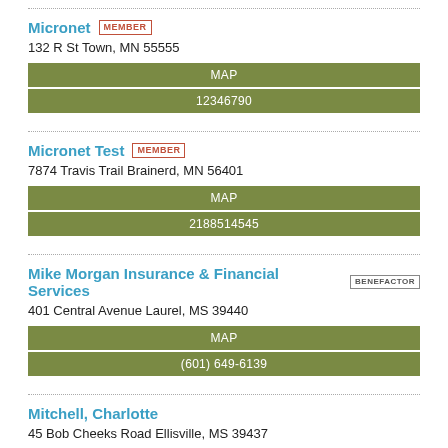Micronet MEMBER
132 R St Town, MN 55555
MAP
12346790
Micronet Test MEMBER
7874 Travis Trail Brainerd, MN 56401
MAP
2188514545
Mike Morgan Insurance & Financial Services BENEFACTOR
401 Central Avenue Laurel, MS 39440
MAP
(601) 649-6139
Mitchell, Charlotte
45 Bob Cheeks Road Ellisville, MS 39437